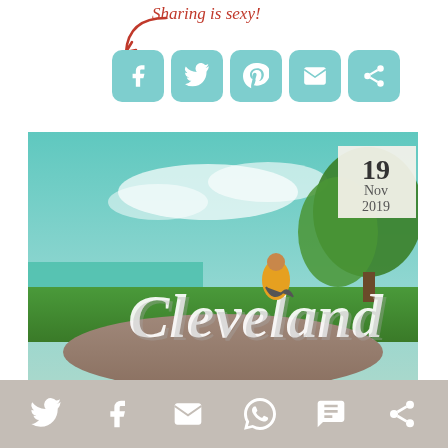Sharing is sexy!
[Figure (infographic): Social share buttons for Facebook, Twitter, Pinterest, Email, and another social platform in teal/mint rounded square buttons, with a red cursive 'Sharing is sexy!' label and red arrow pointing to the buttons.]
[Figure (photo): Photo of a woman in a yellow dress sitting on a large white 'Cleveland' script sign landmark, with Lake Erie, green grass, trees, and blue sky in the background. A date stamp reads 19 Nov 2019 in the upper right corner.]
[Figure (infographic): Bottom toolbar with social sharing icons: Twitter, Facebook, Email, WhatsApp, SMS, and another share icon, all in white on a tan/beige background.]